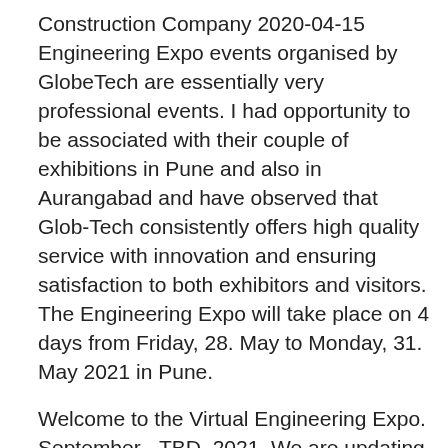Construction Company 2020-04-15 Engineering Expo events organised by GlobeTech are essentially very professional events. I had opportunity to be associated with their couple of exhibitions in Pune and also in Aurangabad and have observed that Glob-Tech consistently offers high quality service with innovation and ensuring satisfaction to both exhibitors and visitors. The Engineering Expo will take place on 4 days from Friday, 28. May to Monday, 31. May 2021 in Pune.
Welcome to the Virtual Engineering Expo. September - TBD, 2021. We are updating our site for 2021. Please check back later for updated information.
Ny spårväg göteborg